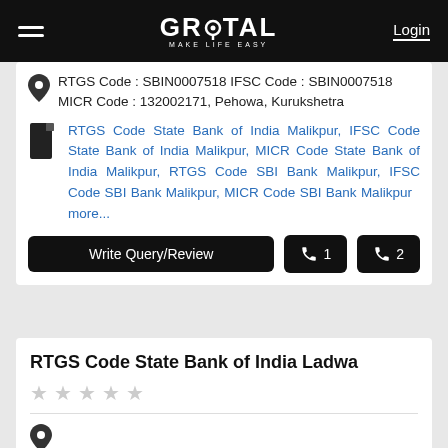GROTAL MAKE LIFE EASY | Login
RTGS Code : SBIN0007518 IFSC Code : SBIN0007518 MICR Code : 132002171, Pehowa, Kurukshetra
RTGS Code State Bank of India Malikpur, IFSC Code State Bank of India Malikpur, MICR Code State Bank of India Malikpur, RTGS Code SBI Bank Malikpur, IFSC Code SBI Bank Malikpur, MICR Code SBI Bank Malikpur  more...
Write Query/Review
RTGS Code State Bank of India Ladwa
☆ ☆ ☆ ☆ ☆